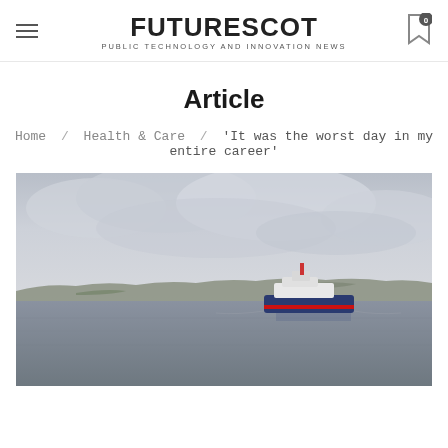FUTURESCOT — PUBLIC TECHNOLOGY AND INNOVATION NEWS
Article
Home / Health & Care / 'It was the worst day in my entire career'
[Figure (photo): A boat/ferry vessel on calm grey-blue water with low Scottish islands and dramatic cloudy sky in the background]